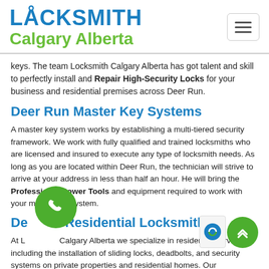[Figure (logo): Locksmith Calgary Alberta logo with padlock icon in blue and green]
keys. The team Locksmith Calgary Alberta has got talent and skill to perfectly install and Repair High-Security Locks for your business and residential premises across Deer Run.
Deer Run Master Key Systems
A master key system works by establishing a multi-tiered security framework. We work with fully qualified and trained locksmiths who are licensed and insured to execute any type of locksmith needs. As long as you are located within Deer Run, the technician will strive to arrive at your address in less than half an hour. He will bring the Professional Power Tools and equipment required to work with your master key system.
Deer Run Residential Locksmith
At Locksmith Calgary Alberta we specialize in residential services including the installation of sliding locks, deadbolts, and security systems on private properties and residential homes. Our experienced